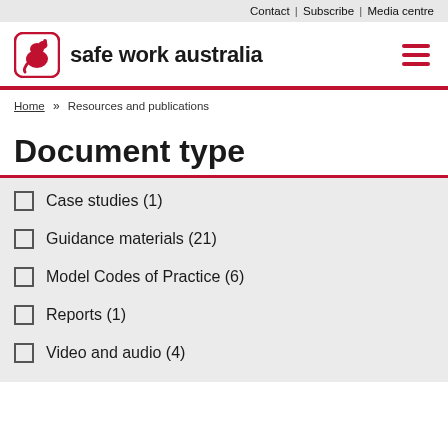Contact | Subscribe | Media centre
[Figure (logo): Safe Work Australia logo — red kangaroo icon with text 'safe work australia']
Home » Resources and publications
Document type
Case studies (1)
Guidance materials (21)
Model Codes of Practice (6)
Reports (1)
Video and audio (4)